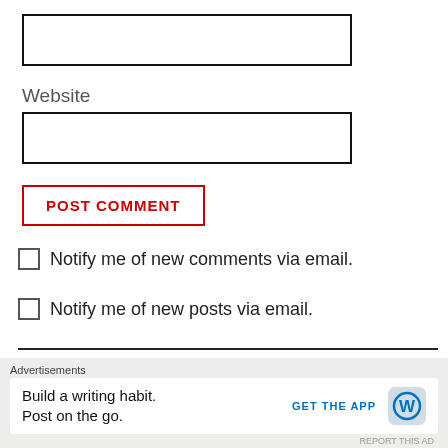[Figure (other): Empty text input box (name or email field)]
Website
[Figure (other): Empty text input box for website URL]
POST COMMENT
Notify me of new comments via email.
Notify me of new posts via email.
[Figure (logo): Westpac bank logo — red and gold W chevron mark]
Advertisements
Build a writing habit. Post on the go.
GET THE APP
[Figure (logo): WordPress blue circle logo icon]